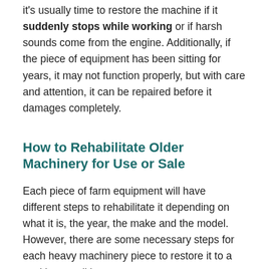it's usually time to restore the machine if it suddenly stops while working or if harsh sounds come from the engine. Additionally, if the piece of equipment has been sitting for years, it may not function properly, but with care and attention, it can be repaired before it damages completely.
How to Rehabilitate Older Machinery for Use or Sale
Each piece of farm equipment will have different steps to rehabilitate it depending on what it is, the year, the make and the model. However, there are some necessary steps for each heavy machinery piece to restore it to a working condition.